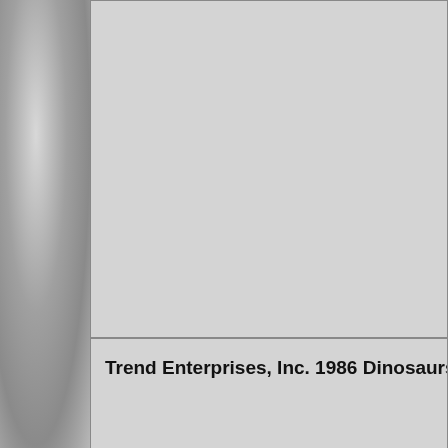[Figure (photo): Top cell: empty gray area, appears to be a catalog/listing cell with no visible content in this crop]
Trend Enterprises, Inc. 1986 Dinosaurs & Preh...
Trend Enterprises, Inc. 1993 Wonder Quest Din...